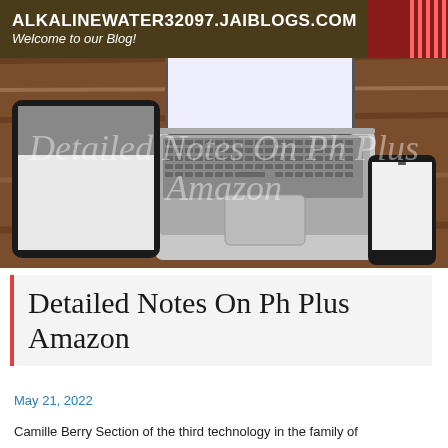ALKALINEWATER32097.JAIBLOGS.COM
Welcome to our Blog!
[Figure (photo): Photo of a laptop, tablet, and smartphone on a wooden desk. Watermark text reads 'Detailed Notes On Ph Plus Amazon'.]
Detailed Notes On Ph Plus Amazon
May 21, 2022
Camille Berry Section of the third technology in the family of